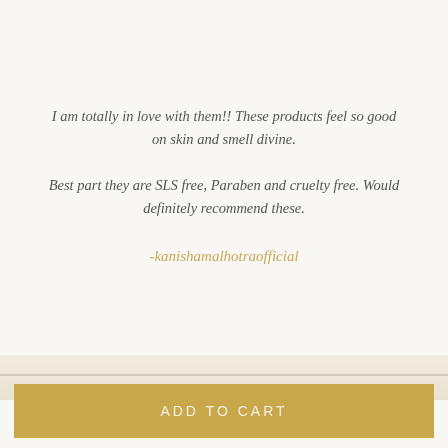I am totally in love with them!! These products feel so good on skin and smell divine.

Best part they are SLS free, Paraben and cruelty free. Would definitely recommend these.
-kanishamalhotraofficial
ADD TO CART